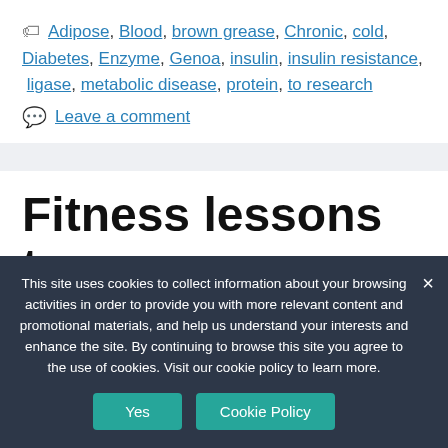🏷 Adipose, Blood, brown grease, Chronic, cold, Diabetes, Enzyme, Genoa, insulin, insulin resistance, ligase, metabolic disease, protein, to research
💬 Leave a comment
Fitness lessons to
This site uses cookies to collect information about your browsing activities in order to provide you with more relevant content and promotional materials, and help us understand your interests and enhance the site. By continuing to browse this site you agree to the use of cookies. Visit our cookie policy to learn more.